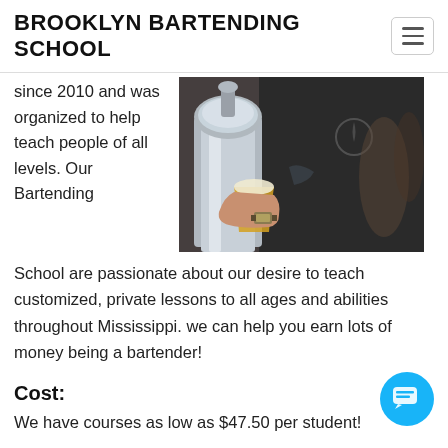BROOKLYN BARTENDING SCHOOL
since 2010 and was organized to help teach people of all levels. Our Bartending School are passionate about our desire to teach customized, private lessons to all ages and abilities throughout Mississippi. we can help you earn lots of money being a bartender!
[Figure (photo): Bartender pouring beer from a chrome tap handle into a glass]
Cost:
We have courses as low as $47.50 per student!
Contact